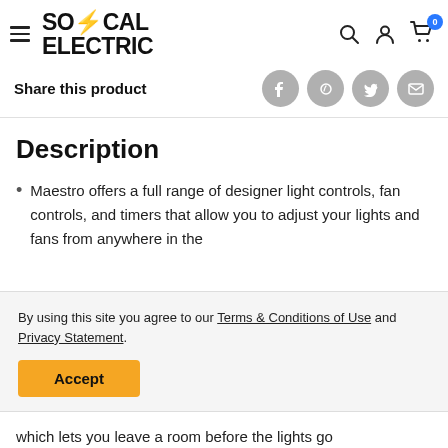[Figure (logo): SoCal Electric logo with lightning bolt in blue]
Share this product
Description
Maestro offers a full range of designer light controls, fan controls, and timers that allow you to adjust your lights and fans from anywhere in the
By using this site you agree to our Terms & Conditions of Use and Privacy Statement.
Accept
which lets you leave a room before the lights go